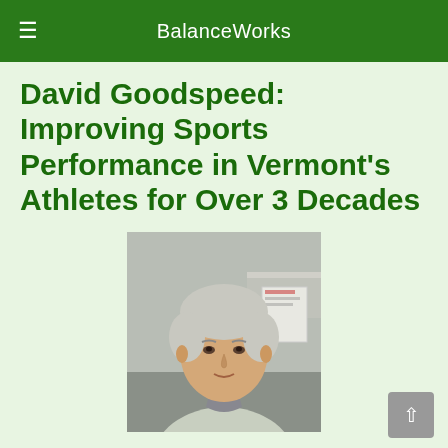BalanceWorks
David Goodspeed: Improving Sports Performance in Vermont's Athletes for Over 3 Decades
[Figure (photo): Portrait photo of David Goodspeed, a middle-aged man with grey hair wearing a light grey shirt, indoors]
David Goodspeed Board Certified Pedorthist,